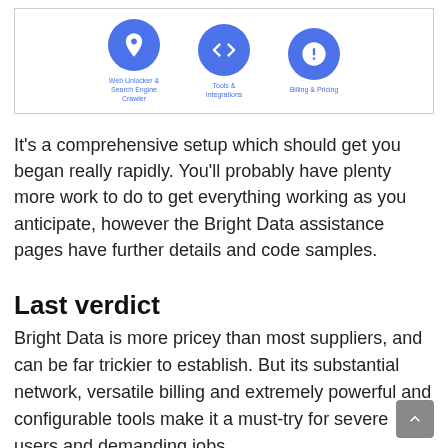[Figure (infographic): Three blue circular icons in a bordered box: Web Unlocker & Search Engine Crawler, Tools & Integrations, Billing & Pricing]
It's a comprehensive setup which should get you began really rapidly. You'll probably have plenty more work to do to get everything working as you anticipate, however the Bright Data assistance pages have further details and code samples.
Last verdict
Bright Data is more pricey than most suppliers, and can be far trickier to establish. But its substantial network, versatile billing and extremely powerful and configurable tools make it a must-try for severe users and demanding jobs.